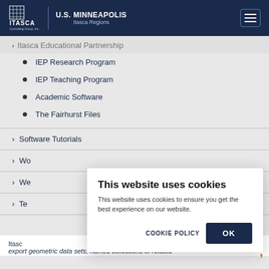U.S. MINNEAPOLIS | Itasca Regions
> Itasca Educational Partnership
IEP Research Program
IEP Teaching Program
Academic Software
The Fairhurst Files
> Software Tutorials
> Workshops
> Wo…
> Tec…
Itasc…
export geometric data sets, named collections of related
This website uses cookies
This website uses cookies to ensure you get the best experience on our website.
COOKIE POLICY
OK